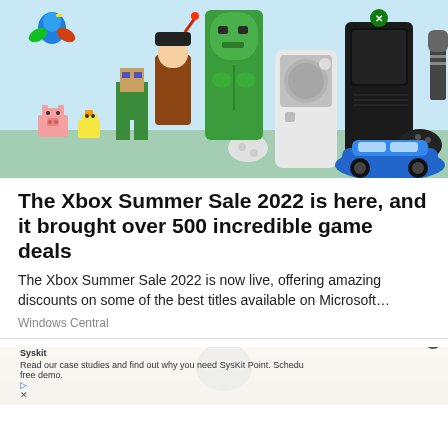[Figure (illustration): Xbox promotional hero image showing Xbox Series X and Series S consoles with game characters including Minecraft figures, a pirate character, Hulk, Gears of War soldiers, a blue sports car (McLaren), and a colorful bird against a light blue/teal background.]
The Xbox Summer Sale 2022 is here, and it brought over 500 incredible game deals
The Xbox Summer Sale 2022 is now live, offering amazing discounts on some of the best titles available on Microsoft…
Windows Central
[Figure (photo): Partial image of a dark scene, appears to be a character with goggles on a sandy/rocky background, partially cut off at the bottom of the page.]
Syskit
Read our case studies and find out why you need SysKit Point. Schedu free demo.